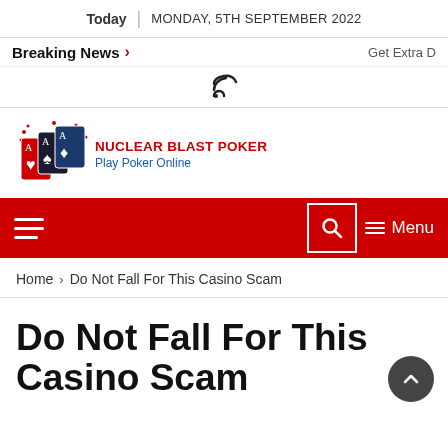Today | MONDAY, 5TH SEPTEMBER 2022
Breaking News > Get Extra D
[Figure (other): RSS feed icon]
[Figure (logo): Nuclear Blast Poker logo with playing cards graphic, text: NUCLEAR BLAST POKER, Play Poker Online]
[Figure (other): Red navigation bar with hamburger menu on left, search icon box and Menu button on right]
Home > Do Not Fall For This Casino Scam
Do Not Fall For This Casino Scam